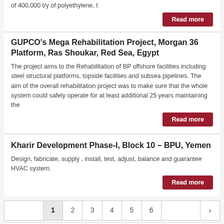of 400,000 t/y of polyethylene, t
Read more
GUPCO's Mega Rehabilitation Project, Morgan 36 Platform, Ras Shoukar, Red Sea, Egypt
The project aims to the Rehabilitation of BP offshore facilities including steel structural platforms, topside facilities and subsea pipelines. The aim of the overall rehabilitation project was to make sure that the whole system could safely operate for at least additional 25 years maintaining the
Read more
Kharir Development Phase-I, Block 10 – BPU, Yemen
Design, fabricate, supply , install, test, adjust, balance and guarantee HVAC system.
Read more
1 2 3 4 5 6 >